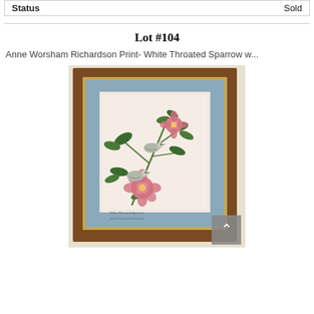| Status | Sold |
| --- | --- |
Lot #104
Anne Worsham Richardson Print- White Throated Sparrow w...
[Figure (photo): Framed botanical print by Anne Worsham Richardson showing White Throated Sparrow with camellias, in a wood frame with blue mat.]